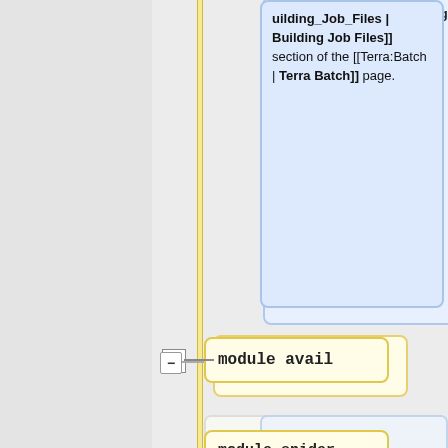es | Building Job Files]] section of the [[Terra:Batch | Terra Batch]] page.
module avail
You can search for particular software by keyword using:
More information on '''dos2unix''' can be found on the [[:SW:dos2unix | dos2unix]] section of the [[:SW | HPRC Available Software]] page.
module spider